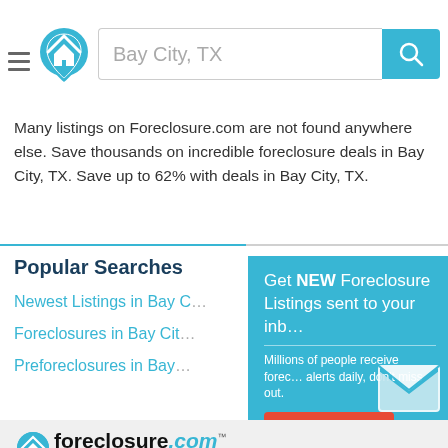Bay City, TX [search bar with logo and hamburger menu]
Many listings on Foreclosure.com are not found anywhere else. Save thousands on incredible foreclosure deals in Bay City, TX. Save up to 62% with deals in Bay City, TX.
Popular Searches
Newest Listings in Bay City
Foreclosures in Bay City
Preforeclosures in Bay
[Figure (infographic): Teal signup popup overlay: 'Get NEW Foreclosure Listings sent to your inbox'. Subtext: 'Millions of people receive foreclosure alerts daily, don't miss out.' Red 'Signup Here' button. Links: 'No Thanks | Remind Me Later'. Envelope icon graphic.]
[Figure (logo): foreclosure.com logo with house pin icon. Text: HOT FORECLOSURE DEALS with one simple search]
We make buying foreclosures simple.